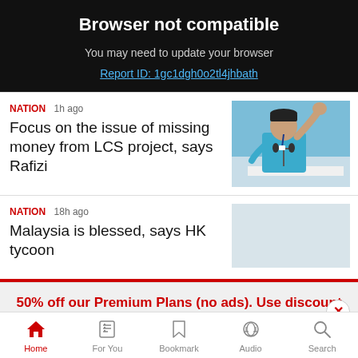Browser not compatible
You may need to update your browser
Report ID: 1gc1dgh0o2tl4jhbath
NATION  1h ago
Focus on the issue of missing money from LCS project, says Rafizi
[Figure (photo): Photo of a man in a teal baju melayu and black songkok with fist raised, speaking at a podium with microphones]
NATION  18h ago
Malaysia is blessed, says HK tycoon
[Figure (photo): Partially visible news thumbnail placeholder]
50% off our Premium Plans (no ads).  Use discount code:MERDEKA.  >
Home  For You  Bookmark  Audio  Search